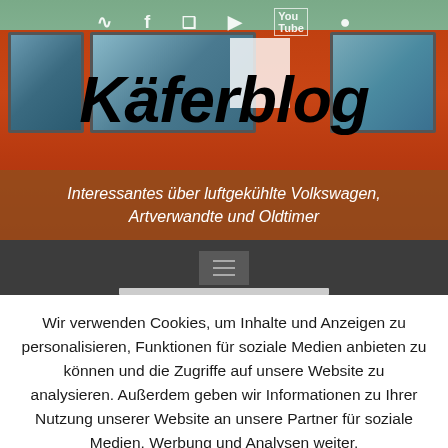[Figure (photo): Hero banner showing a vintage Volkswagen bus (orange) with scenic background. Social media icons visible at top (RSS, Facebook, Twitter, Instagram, YouTube). Site title 'Käferblog' in large bold italic black text overlaid on the photo.]
Käferblog
Interessantes über luftgekühlte Volkswagen, Artverwandte und Oldtimer
[Figure (screenshot): Dark navigation bar with hamburger menu button icon (three horizontal lines) in the center]
Wir verwenden Cookies, um Inhalte und Anzeigen zu personalisieren, Funktionen für soziale Medien anbieten zu können und die Zugriffe auf unsere Website zu analysieren. Außerdem geben wir Informationen zu Ihrer Nutzung unserer Website an unsere Partner für soziale Medien, Werbung und Analysen weiter.
Akzeptieren
Mehr Informationen